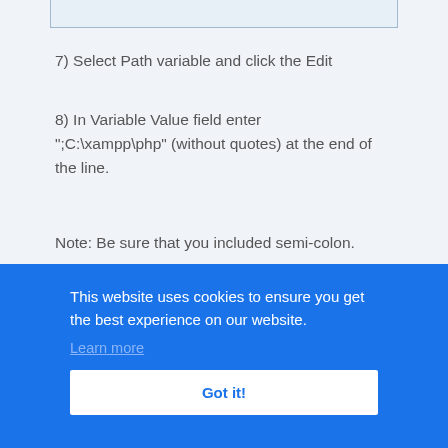[Figure (screenshot): Top portion of a dialog box UI element, partially cropped at top]
7) Select Path variable and click the Edit
8) In Variable Value field enter ";C:\xampp\php" (without quotes) at the end of the line.
Note: Be sure that you included semi-colon.
[Figure (screenshot): Cookie consent banner overlay with blue background. Text: 'This website uses cookies to ensure you get the best experience on our website.' with 'Learn more' link and 'Got it!' button.]